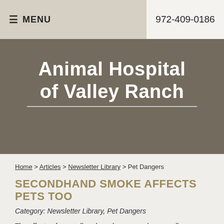≡ MENU | 972-409-0186
Animal Hospital of Valley Ranch
Home > Articles > Newsletter Library > Pet Dangers
SECONDHAND SMOKE AFFECTS PETS TOO
Category: Newsletter Library, Pet Dangers
The effects of secondhand smoke on people are well-documented. Exposure to tobacco smoke causes a variety of serious health problems, including stroke, heart disease, and lung cancer, according to the Centers